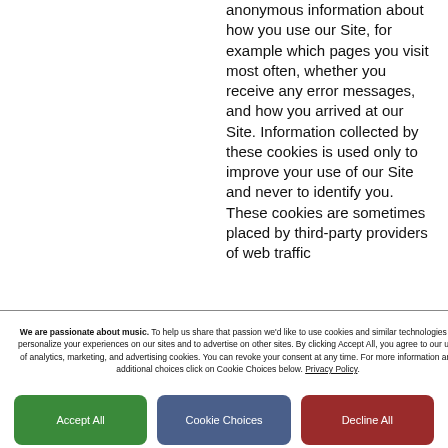anonymous information about how you use our Site, for example which pages you visit most often, whether you receive any error messages, and how you arrived at our Site. Information collected by these cookies is used only to improve your use of our Site and never to identify you. These cookies are sometimes placed by third-party providers of web traffic
We are passionate about music. To help us share that passion we'd like to use cookies and similar technologies to personalize your experiences on our sites and to advertise on other sites. By clicking Accept All, you agree to our use of analytics, marketing, and advertising cookies. You can revoke your consent at any time. For more information and additional choices click on Cookie Choices below. Privacy Policy.